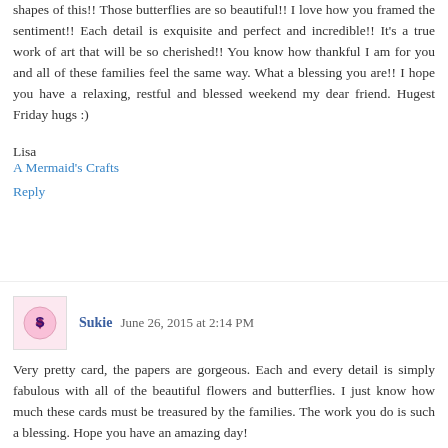shapes of this!! Those butterflies are so beautiful!! I love how you framed the sentiment!! Each detail is exquisite and perfect and incredible!! It's a true work of art that will be so cherished!! You know how thankful I am for you and all of these families feel the same way. What a blessing you are!! I hope you have a relaxing, restful and blessed weekend my dear friend. Hugest Friday hugs :)
Lisa
A Mermaid's Crafts
Reply
Sukie  June 26, 2015 at 2:14 PM
Very pretty card, the papers are gorgeous. Each and every detail is simply fabulous with all of the beautiful flowers and butterflies. I just know how much these cards must be treasured by the families. The work you do is such a blessing. Hope you have an amazing day!
Reply